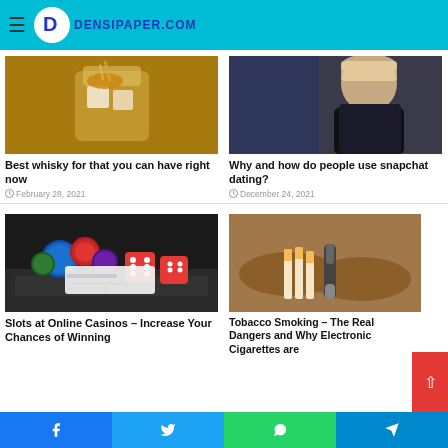DENSIPAPER.COM
[Figure (photo): Whisky glass with ice being poured]
Best whisky for that you can have right now
February 28, 2021
[Figure (photo): Woman looking at phone by window]
Why and how do people use snapchat dating?
December 24, 2021
[Figure (photo): Casino chips and dice on laptop keyboard]
Slots at Online Casinos – Increase Your Chances of Winning
[Figure (photo): Hands holding e-cigarette and cigarettes]
Tobacco Smoking – The Real Dangers and Why Electronic Cigarettes are